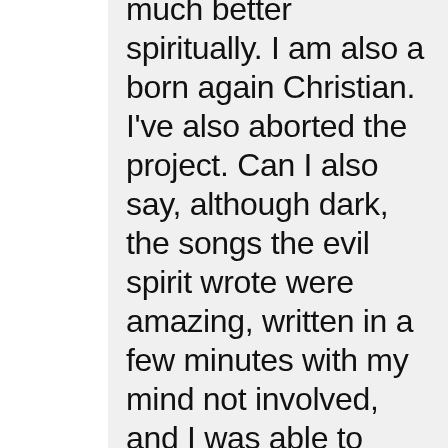much better spiritually. I am also a born again Christian. I've also aborted the project. Can I also say, although dark, the songs the evil spirit wrote were amazing, written in a few minutes with my mind not involved, and I was able to channel when acting and putting the music down. I believe what you say. When I look back at my eyes and how they looked then I look very evil and at the end was looking and feeling very